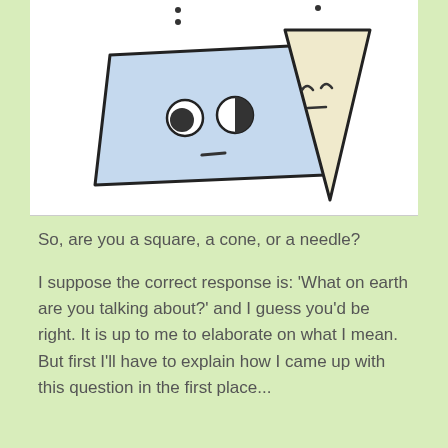[Figure (illustration): Cartoon illustration of two animated geometric shapes on a white background. On the left, a blue parallelogram/square shape with two circle eyes (one white, one half-dark) and a short dash mouth, with two dots above it suggesting eyebrows. On the right, a cream/beige cone (triangle pointing down) with two small arch eyes and a short dash mouth, also with a dot above it.]
So, are you a square, a cone, or a needle?
I suppose the correct response is: 'What on earth are you talking about?' and I guess you'd be right. It is up to me to elaborate on what I mean. But first I'll have to explain how I came up with this question in the first place...